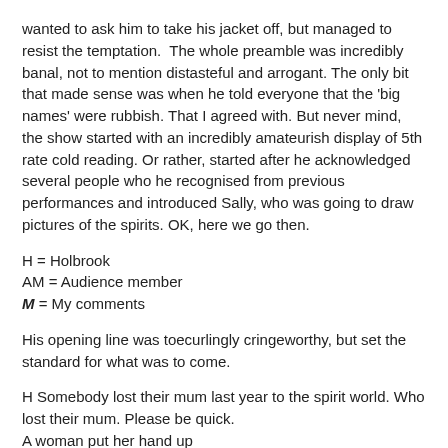wanted to ask him to take his jacket off, but managed to resist the temptation. The whole preamble was incredibly banal, not to mention distasteful and arrogant. The only bit that made sense was when he told everyone that the 'big names' were rubbish. That I agreed with. But never mind, the show started with an incredibly amateurish display of 5th rate cold reading. Or rather, started after he acknowledged several people who he recognised from previous performances and introduced Sally, who was going to draw pictures of the spirits. OK, here we go then.
H = Holbrook
AM = Audience member
M = My comments
His opening line was toecurlingly cringeworthy, but set the standard for what was to come.
H Somebody lost their mum last year to the spirit world. Who lost their mum. Please be quick.
A woman put her hand up